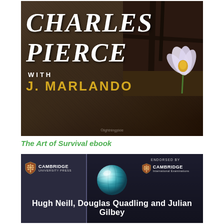[Figure (photo): Book cover of 'Charles Pierce with J. Marlando' showing a rocky dark textured background with a white and purple flower (crocus) in the upper right corner and dark branches/cross overlaying the image. Title 'CHARLES PIERCE' is in large white italic serif font, 'WITH' in small white caps, and 'J. MARLANDO' in gold/yellow bold font.]
The Art of Survival ebook
[Figure (photo): Book cover for a Cambridge University Press publication. Dark navy/black background. Left panel shows Cambridge University Press logo (shield icon) with name. Right side shows 'ENDORSED BY Cambridge International Examinations' logo. Center features a 3D reflective globe/sphere icon in teal/silver. Bottom text reads 'Hugh Neill, Douglas Quadling and Julian Gilbey' in white.]